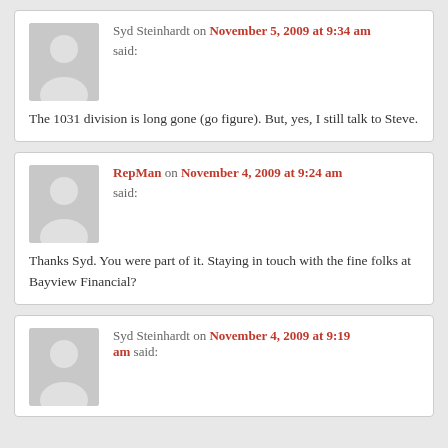Syd Steinhardt on November 5, 2009 at 9:34 am said: The 1031 division is long gone (go figure). But, yes, I still talk to Steve.
RepMan on November 4, 2009 at 9:24 am said: Thanks Syd. You were part of it. Staying in touch with the fine folks at Bayview Financial?
Syd Steinhardt on November 4, 2009 at 9:19 am said: